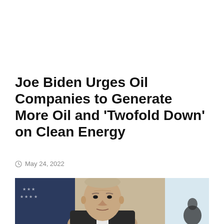Joe Biden Urges Oil Companies to Generate More Oil and 'Twofold Down' on Clean Energy
May 24, 2022
[Figure (photo): A close-up photo of Joe Biden speaking at a podium, with an American flag visible in the background.]